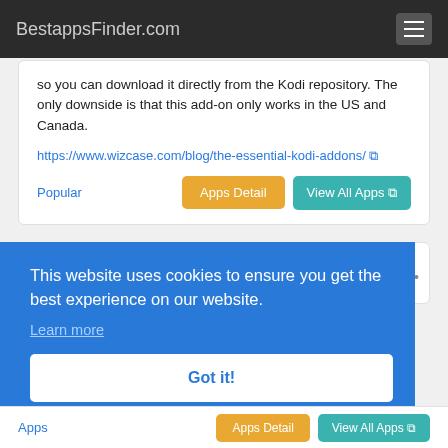BestappsFinder.com
so you can download it directly from the Kodi repository. The only downside is that this add-on only works in the US and Canada.
https://www.wizcase.com/blog/the-essential-kodi-addons/
Popular
This website uses cookies to ensure you get the best experience on our website.
Learn more
Got it!
Apps